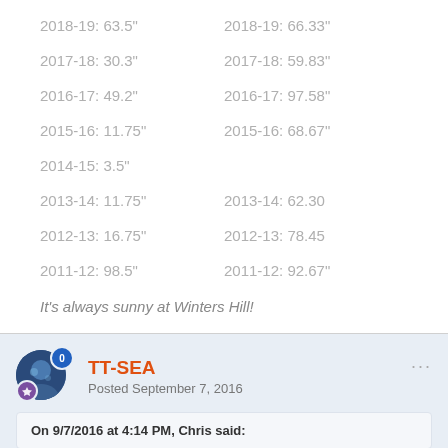2018-19: 63.5"    2018-19: 66.33"
2017-18: 30.3"    2017-18: 59.83"
2016-17: 49.2"    2016-17: 97.58"
2015-16: 11.75"   2015-16: 68.67"
2014-15: 3.5"
2013-14: 11.75"   2013-14: 62.30
2012-13: 16.75"   2012-13: 78.45
2011-12: 98.5"    2011-12: 92.67"
It's always sunny at Winters Hill!
TT-SEA
Posted September 7, 2016
On 9/7/2016 at 4:14 PM, Chris said: